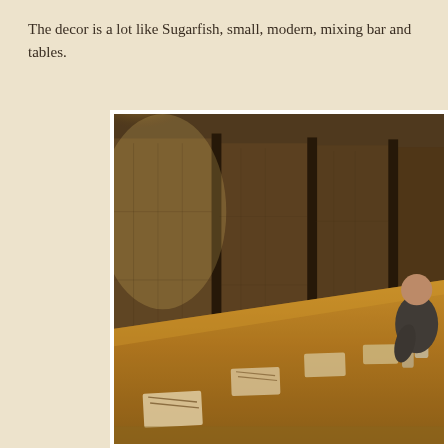The decor is a lot like Sugarfish, small, modern, mixing bar and tables.
[Figure (photo): Interior of a modern sushi restaurant showing a long wooden bar counter with place settings, dark metallic textured wall panels with vertical dividers lit by overhead spotlights, and a person sitting at the far end of the bar.]